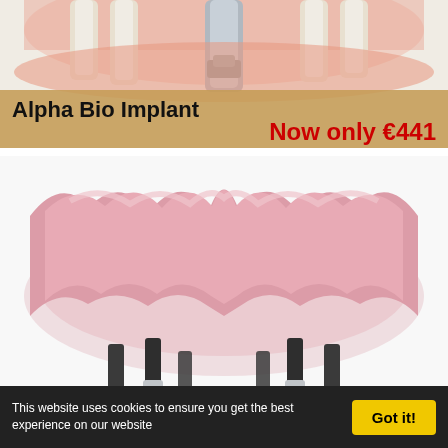[Figure (illustration): Top banner: dental implants illustration showing multiple white tooth implants in bone/gum with a metal screw implant in center, sandy/tan background. Text overlay: 'Alpha Bio Implant' in black bold and 'Now only €441' in bold red.]
[Figure (illustration): Middle banner: illustration of a full set jaw with pink gum arch and 6 dental implants with screw abutments below. Text overlay reads 'Full set/jaw €6435 (-10%)' and '6 implants + roundbridge' in red.]
This website uses cookies to ensure you get the best experience on our website